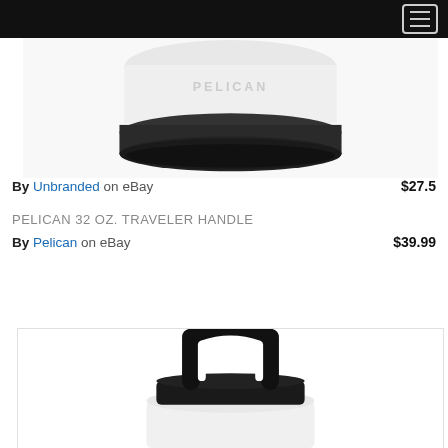Navigation bar with hamburger menu
[Figure (photo): Close-up of a white Pelican water bottle bottom with dark rubber base and Pelican branding on the cap area]
By Unbranded on eBay  $27.5
PELICAN 32 OZ. TRAVELER HANDLE
By Pelican on eBay  $39.99
[Figure (photo): White Pelican 32 oz water bottle with black travel handle lid on white background]